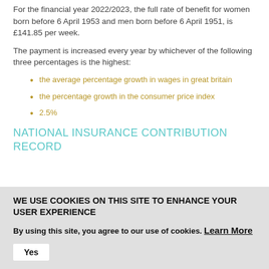For the financial year 2022/2023, the full rate of benefit for women born before 6 April 1953 and men born before 6 April 1951, is £141.85 per week.
The payment is increased every year by whichever of the following three percentages is the highest:
the average percentage growth in wages in great britain
the percentage growth in the consumer price index
2.5%
NATIONAL INSURANCE CONTRIBUTION RECORD
WE USE COOKIES ON THIS SITE TO ENHANCE YOUR USER EXPERIENCE
By using this site, you agree to our use of cookies. Learn More
Yes